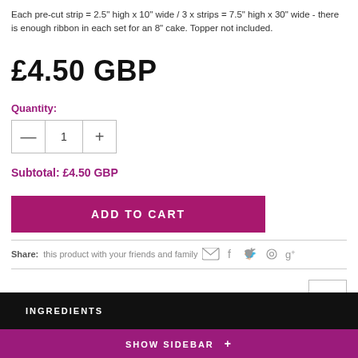Each pre-cut strip = 2.5" high x 10" wide / 3 x strips = 7.5" high x 30" wide - there is enough ribbon in each set for an 8" cake. Topper not included.
£4.50 GBP
Quantity:
Subtotal: £4.50 GBP
ADD TO CART
Share: this product with your friends and family
INGREDIENTS
SHOW SIDEBAR +